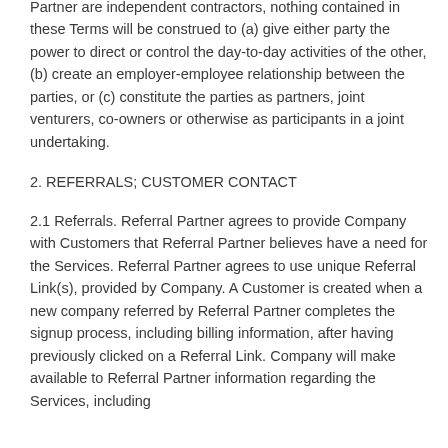Partner are independent contractors, nothing contained in these Terms will be construed to (a) give either party the power to direct or control the day-to-day activities of the other, (b) create an employer-employee relationship between the parties, or (c) constitute the parties as partners, joint venturers, co-owners or otherwise as participants in a joint undertaking.
2. REFERRALS; CUSTOMER CONTACT
2.1 Referrals. Referral Partner agrees to provide Company with Customers that Referral Partner believes have a need for the Services. Referral Partner agrees to use unique Referral Link(s), provided by Company. A Customer is created when a new company referred by Referral Partner completes the signup process, including billing information, after having previously clicked on a Referral Link. Company will make available to Referral Partner information regarding the Services, including